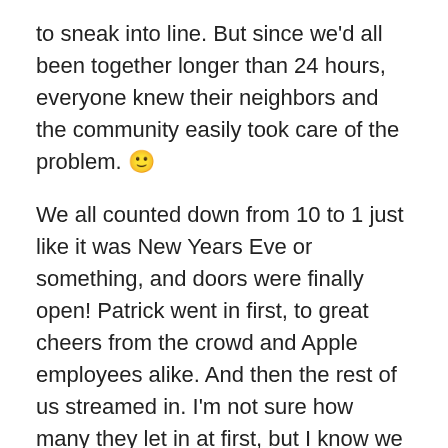to sneak into line. But since we'd all been together longer than 24 hours, everyone knew their neighbors and the community easily took care of the problem. 🙂
We all counted down from 10 to 1 just like it was New Years Eve or something, and doors were finally open! Patrick went in first, to great cheers from the crowd and Apple employees alike. And then the rest of us streamed in. I'm not sure how many they let in at first, but I know we were in that batch, so it was probably 30 or so. We were screaming and cheering as we went up to our Apple sales rep and told him we'd like 14 phones (we had 7 people at 2 phones apiece). A few quick swipes of barcodes and one credit card and we were done – we had our iPhones!
After perusing the accessories for a few minutes, we figured we'd better leave to give other people a chance to